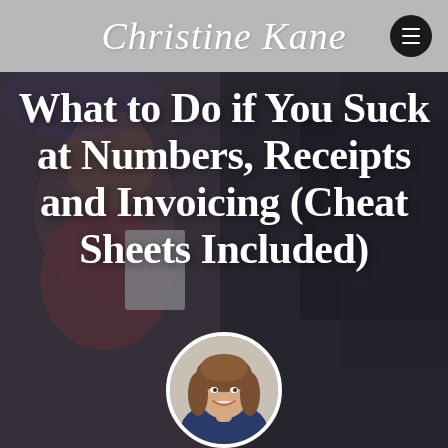Christine Kane
[Figure (photo): Background photo of a woman speaking or presenting at an event, partially overlaid with dark overlay. Below the main image area, a circular headshot of a smiling woman with brown hair appears at the bottom center.]
What to Do if You Suck at Numbers, Receipts and Invoicing (Cheat Sheets Included)